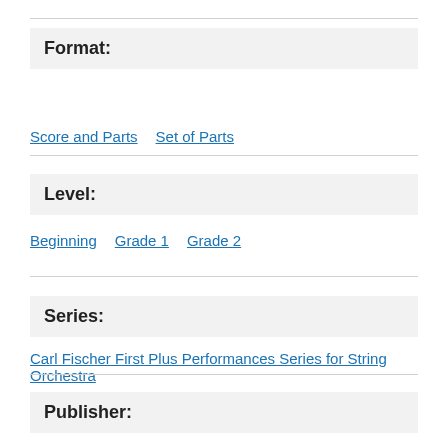Format:
Score and Parts
Set of Parts
Level:
Beginning
Grade 1
Grade 2
Series:
Carl Fischer First Plus Performances Series for String Orchestra
Publisher:
Carl Fischer Music
[Figure (screenshot): Search bar with blue border and magnifying glass icon at the bottom of the page]